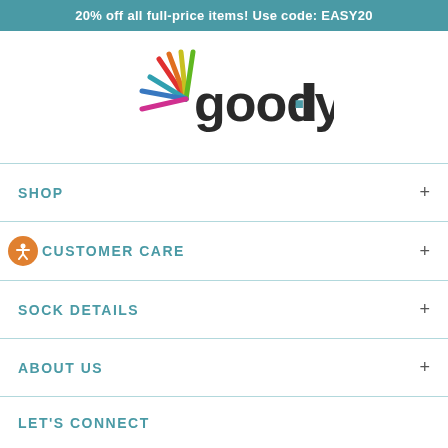20% off all full-price items! Use code: EASY20
[Figure (logo): good·ly logo with colorful sunburst rays in red, orange, yellow, green, and blue/teal on the left side of the wordmark]
SHOP +
CUSTOMER CARE +
SOCK DETAILS +
ABOUT US +
LET'S CONNECT